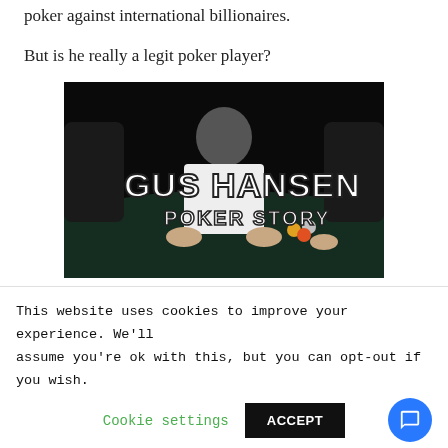poker against international billionaires.
But is he really a legit poker player?
[Figure (photo): Dark photo of a poker table scene with a man in a white shirt leaning over the table. Bold white text overlay reads 'GUS HANSEN POKER STORY'.]
This website uses cookies to improve your experience. We'll assume you're ok with this, but you can opt-out if you wish.
Cookie settings  ACCEPT